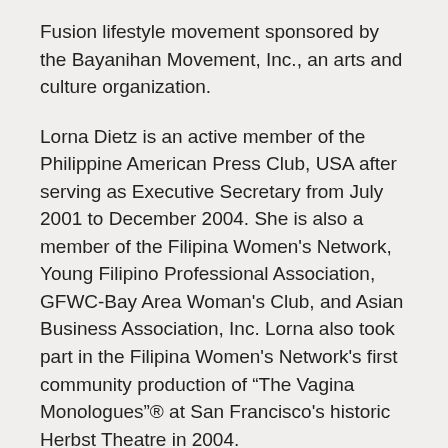Fusion lifestyle movement sponsored by the Bayanihan Movement, Inc., an arts and culture organization.
Lorna Dietz is an active member of the Philippine American Press Club, USA after serving as Executive Secretary from July 2001 to December 2004. She is also a member of the Filipina Women's Network, Young Filipino Professional Association, GFWC-Bay Area Woman's Club, and Asian Business Association, Inc. Lorna also took part in the Filipina Women's Network's first community production of “The Vagina Monologues”® at San Francisco's historic Herbst Theatre in 2004.
Some of Lorna's former affiliations include being a member of the board of directors of the Asian & Pacific Islander Wellness Center and Executive Secretary of the Seoul (Korea)-San Francisco Sister City Committee.